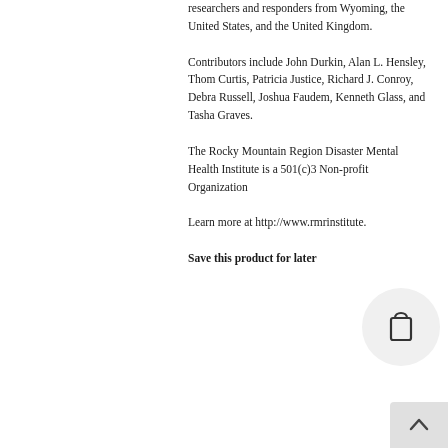researchers and responders from Wyoming, the United States, and the United Kingdom.
Contributors include John Durkin, Alan L. Hensley, Thom Curtis, Patricia Justice, Richard J. Conroy, Debra Russell, Joshua Faudem, Kenneth Glass, and Tasha Graves.
The Rocky Mountain Region Disaster Mental Health Institute is a 501(c)3 Non-profit Organization
Learn more at http://www.rmrinstitute.
Save this product for later